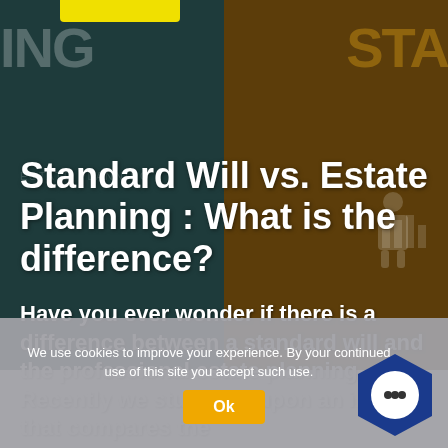[Figure (photo): Blurred background showing two book covers side by side: left half dark teal colored book with large 'ING' text, right half amber/orange colored book with 'STA' text visible, with faint decorative figure on the right side]
Standard Will vs. Estate Planning : What is the difference?
Have you ever wonder if there is a difference between a standard will and the professional estate planning. Recently we stumbled upon an image that compares the
We use cookies to improve your experience. By your continued use of this site you accept such use.